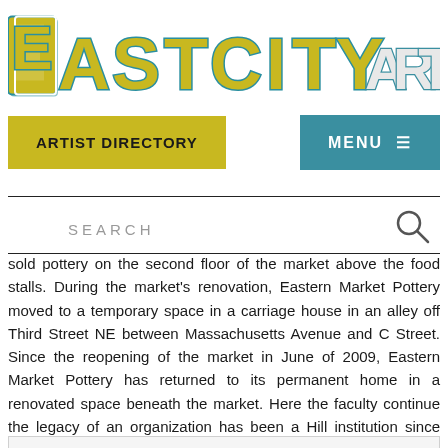[Figure (logo): EastCityArt logo with large stylized block letters. 'EASTCITY' in yellow/gold with teal shadow outlines, 'ART' in light gray/white with teal outlines.]
ARTIST DIRECTORY
MENU
SEARCH
sold pottery on the second floor of the market above the food stalls. During the market's renovation, Eastern Market Pottery moved to a temporary space in a carriage house in an alley off Third Street NE between Massachusetts Avenue and C Street. Since the reopening of the market in June of 2009, Eastern Market Pottery has returned to its permanent home in a renovated space beneath the market. Here the faculty continue the legacy of an organization has been a Hill institution since 1968.